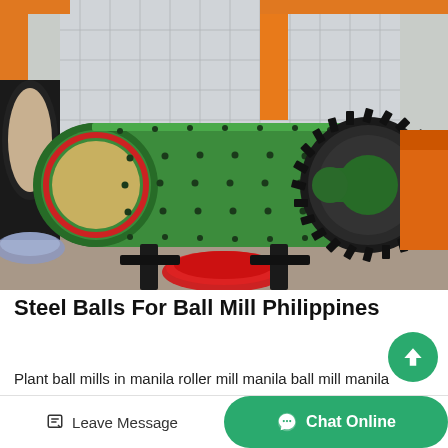[Figure (photo): Large green cylindrical ball mill machine with gear ring and bolted shell panels, photographed in an industrial yard with orange crane structure and warehouse in background. Other mining equipment visible on sides.]
Steel Balls For Ball Mill Philippines
Plant ball mills in manila roller mill manila ball mill manila grains ball mills are similar in concept to